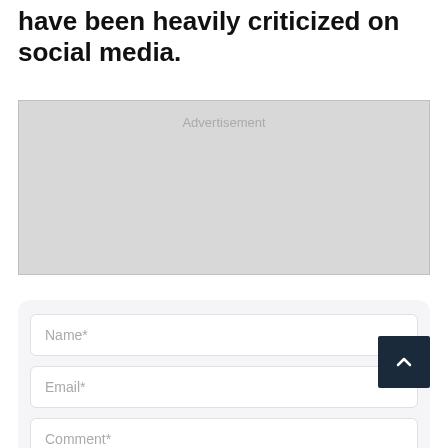have been heavily criticized on social media.
[Figure (other): Advertisement placeholder block]
Name*
Email*
Comment*